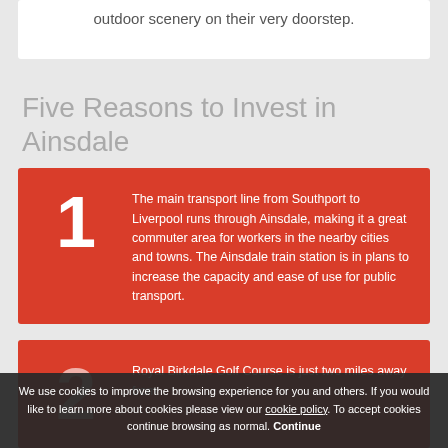outdoor scenery on their very doorstep.
Five Reasons to Invest in Ainsdale
1 — The main transport line from Southport to Liverpool runs through Ainsdale, making it a great commuter area for workers in the nearby cities and towns. The Ainsdale train station is in plans to increase the capacity and ease of use for public transport.
2 — Royal Birkdale Golf Course is just two miles away from
We use cookies to improve the browsing experience for you and others. If you would like to learn more about cookies please view our cookie policy. To accept cookies continue browsing as normal. Continue